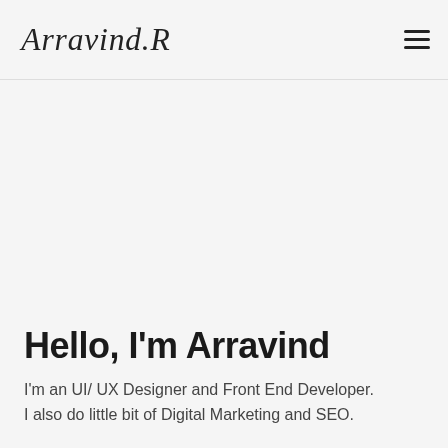Arravind.R
Hello, I'm Arravind
I'm an UI/ UX Designer and Front End Developer.
I also do little bit of Digital Marketing and SEO.